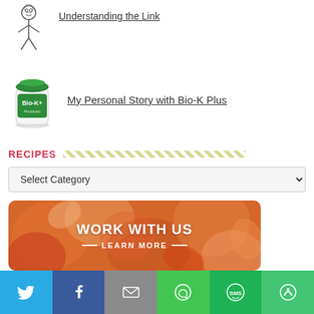[Figure (illustration): Cartoon sketch illustration of a child figure]
Understanding the Link
[Figure (photo): Bio-K+ probiotic product jar with green lid]
My Personal Story with Bio-K Plus
RECIPES
Select Category
[Figure (infographic): Orange floral banner reading WORK WITH US — LEARN MORE —]
[Figure (infographic): Social sharing bar with Twitter, Facebook, Email, WhatsApp, SMS, and More buttons]